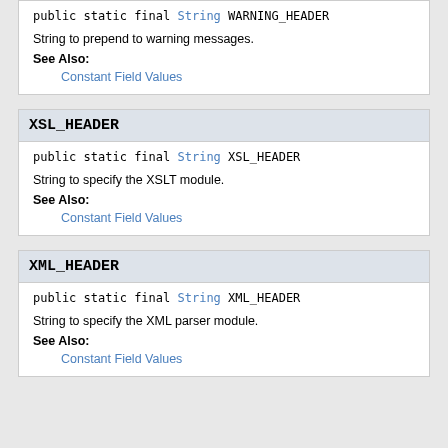public static final String WARNING_HEADER
String to prepend to warning messages.
See Also:
Constant Field Values
XSL_HEADER
public static final String XSL_HEADER
String to specify the XSLT module.
See Also:
Constant Field Values
XML_HEADER
public static final String XML_HEADER
String to specify the XML parser module.
See Also:
Constant Field Values